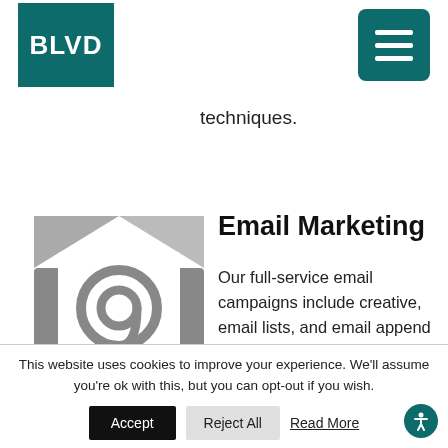BLVD
techniques.
[Figure (illustration): Gray envelope icon with @ symbol on white background, representing email marketing]
Email Marketing
Our full-service email campaigns include creative, email lists, and email append services. Access opt-in prospects that can be targeted with email and mail or other digital
This website uses cookies to improve your experience. We'll assume you're ok with this, but you can opt-out if you wish.